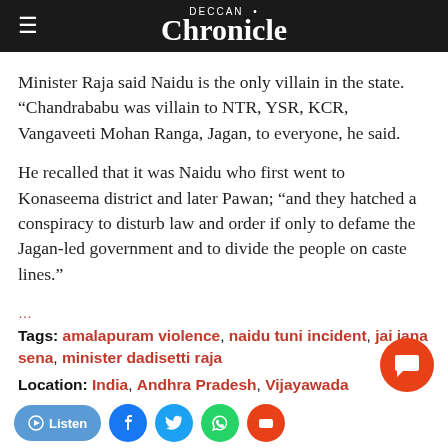Deccan Chronicle
Minister Raja said Naidu is the only villain in the state. “Chandrababu was villain to NTR, YSR, KCR, Vangaveeti Mohan Ranga, Jagan, to everyone, he said.
He recalled that it was Naidu who first went to Konaseema district and later Pawan; “and they hatched a conspiracy to disturb law and order if only to defame the Jagan-led government and to divide the people on caste lines.”
Tags: amalapuram violence, naidu tuni incident, jai jana sena, minister dadisetti raja
Location: India, Andhra Pradesh, Vijayawada